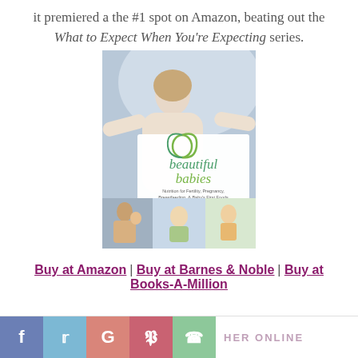it premiered a the #1 spot on Amazon, beating out the What to Expect When You're Expecting series.
[Figure (photo): Book cover of 'Beautiful Babies: Nutrition for Fertility, Pregnancy, Breastfeeding, & Baby's First Foods' by Kristen Michaelis, Foreword by Joel Salatin, with photo of woman and three smaller photos of babies/children.]
Buy at Amazon | Buy at Barnes & Noble | Buy at Books-A-Million
[Figure (other): Social media icon bar with Facebook, Twitter, Google+, Pinterest, WhatsApp icons and 'HER ONLINE' text]